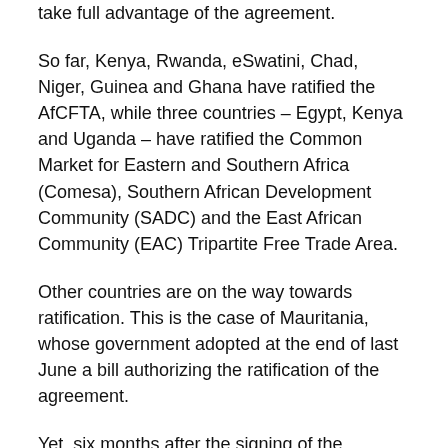take full advantage of the agreement.
So far, Kenya, Rwanda, eSwatini, Chad, Niger, Guinea and Ghana have ratified the AfCFTA, while three countries – Egypt, Kenya and Uganda – have ratified the Common Market for Eastern and Southern Africa (Comesa), Southern African Development Community (SADC) and the East African Community (EAC) Tripartite Free Trade Area.
Other countries are on the way towards ratification. This is the case of Mauritania, whose government adopted at the end of last June a bill authorizing the ratification of the agreement.
Yet, six months after the signing of the agreement, it is almost certain that the 22 ratifications needed for its entry into force will not be reached by tomorrow, September 21.
As many countries were reluctant to ratify the agreement, Niger's president, who leads the economic integration component of the African Union, proposed July 2019, the